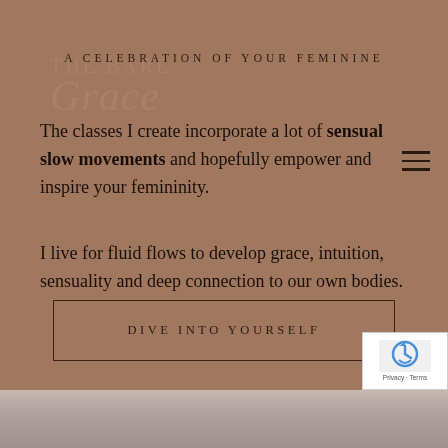A CELEBRATION OF YOUR FEMININE
The classes I create incorporate a lot of sensual slow movements and hopefully empower and inspire your femininity.
I live for fluid flows to develop grace, intuition, sensuality and deep connection to our own bodies.
DIVE INTO YOURSELF
[Figure (photo): Blurred soft-focus image of a person or fabric at the bottom of the page in muted rose and taupe tones]